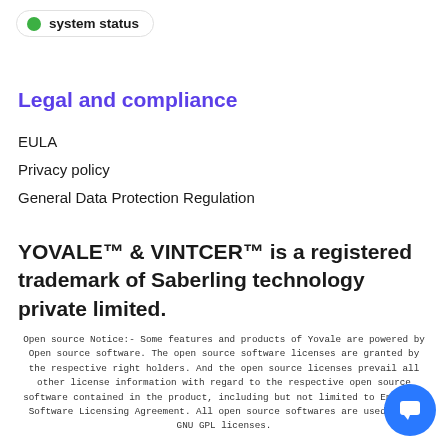[Figure (other): System status button with green dot indicator and label 'system status']
Legal and compliance
EULA
Privacy policy
General Data Protection Regulation
YOVALE™ & VINTCER™ is a registered trademark of Saberling technology private limited.
Open source Notice:- Some features and products of Yovale are powered by Open source software. The open source software licenses are granted by the respective right holders. And the open source licenses prevail all other license information with regard to the respective open source software contained in the product, including but not limited to End User Software Licensing Agreement. All open source softwares are used under GNU GPL licenses.
[Figure (other): Blue circular chat/message button in the bottom right corner]